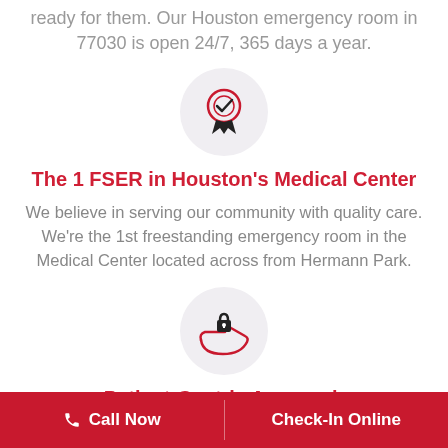ready for them. Our Houston emergency room in 77030 is open 24/7, 365 days a year.
[Figure (illustration): Red award medal / ribbon icon inside a light gray circle]
The 1 FSER in Houston's Medical Center
We believe in serving our community with quality care. We're the 1st freestanding emergency room in the Medical Center located across from Hermann Park.
[Figure (illustration): Hand holding a medical cross / care icon inside a light gray circle]
Patient-Centric Approach
For us, patients come first. Our care involves personalized,
Call Now   Check-In Online